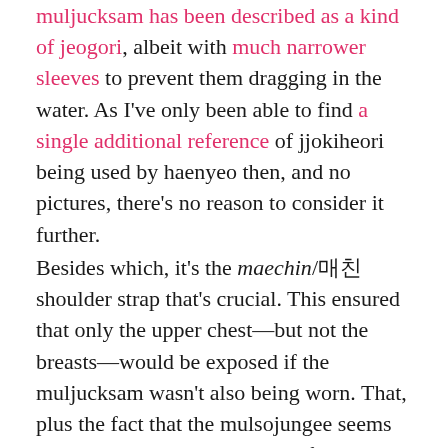muljucksam has been described as a kind of jeogori, albeit with much narrower sleeves to prevent them dragging in the water. As I've only been able to find a single additional reference of jjokiheori being used by haenyeo then, and no pictures, there's no reason to consider it further.
Besides which, it's the maechin/매친 shoulder strap that's crucial. This ensured that only the upper chest—but not the breasts—would be exposed if the muljucksam wasn't also being worn. That, plus the fact that the mulsojungee seems to have come in black just as often as white, sharply distinguishes haenyeo from Japanese ama (아마):